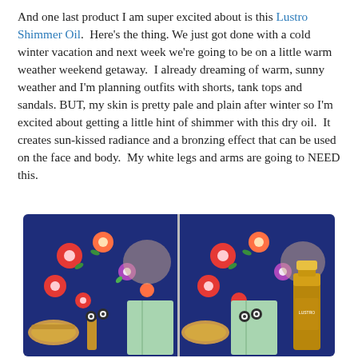And one last product I am super excited about is this Lustro Shimmer Oil.  Here's the thing. We just got done with a cold winter vacation and next week we're going to be on a little warm weather weekend getaway.  I already dreaming of warm, sunny weather and I'm planning outfits with shorts, tank tops and sandals. BUT, my skin is pretty pale and plain after winter so I'm excited about getting a little hint of shimmer with this dry oil.  It creates sun-kissed radiance and a bronzing effect that can be used on the face and body.  My white legs and arms are going to NEED this.
[Figure (photo): Two side-by-side photos showing a flat lay of summer outfits with a floral navy top, mint shorts, cork sandals, and a gold shimmer oil bottle on the right side.]